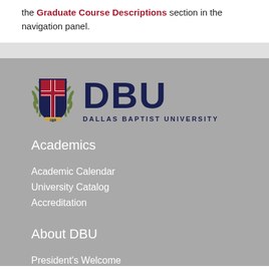the Graduate Course Descriptions section in the navigation panel.
[Figure (logo): Dallas Baptist University shield crest logo with DBU text and DALLAS BAPTIST UNIVERSITY wordmark below]
Academics
Academic Calendar
University Catalog
Accreditation
About DBU
President's Welcome